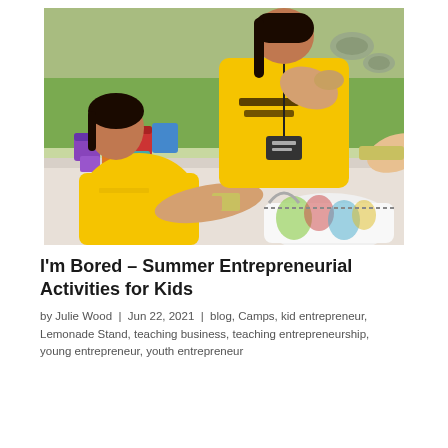[Figure (photo): Two young girls wearing yellow 'I'm a Business Creator' t-shirts at an outdoor table with colorful cups and a floral bag, exchanging money — a kids' lemonade stand or entrepreneurial activity.]
I'm Bored – Summer Entrepreneurial Activities for Kids
by Julie Wood  |  Jun 22, 2021  |  blog, Camps, kid entrepreneur, Lemonade Stand, teaching business, teaching entrepreneurship, young entrepreneur, youth entrepreneur